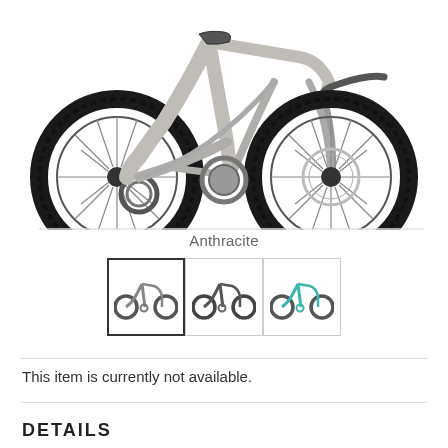[Figure (photo): Side view of a gray/anthracite full-suspension mountain bike with black tires and disc brakes, shown cropped at the top of the page]
Anthracite
[Figure (other): Three color variant thumbnail images of the mountain bike: first (selected, dark border) showing anthracite gray, second showing dark color, third showing teal/turquoise color]
This item is currently not available.
DETAILS